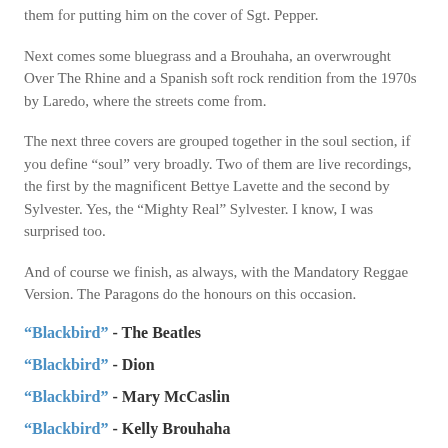them for putting him on the cover of Sgt. Pepper.
Next comes some bluegrass and a Brouhaha, an overwrought Over The Rhine and a Spanish soft rock rendition from the 1970s by Laredo, where the streets come from.
The next three covers are grouped together in the soul section, if you define "soul" very broadly. Two of them are live recordings, the first by the magnificent Bettye Lavette and the second by Sylvester. Yes, the "Mighty Real" Sylvester. I know, I was surprised too.
And of course we finish, as always, with the Mandatory Reggae Version. The Paragons do the honours on this occasion.
"Blackbird" - The Beatles
"Blackbird" - Dion
"Blackbird" - Mary McCaslin
"Blackbird" - Kelly Brouhaha